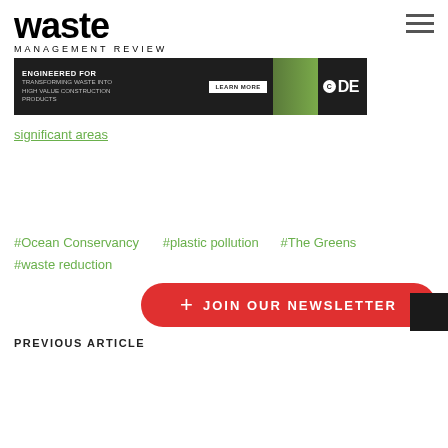waste MANAGEMENT REVIEW
[Figure (infographic): CDE ad banner: dark background with text ENGINEERED FOR TRANSFORMING WASTE INTO HIGH VALUE CONSTRUCTION PRODUCTS, LEARN MORE button, worker in hi-vis vest, CDE logo]
significant areas
#Ocean Conservancy
#plastic pollution
#The Greens
#waste reduction
[Figure (other): JOIN OUR NEWSLETTER red pill-shaped button with + icon]
PREVIOUS ARTICLE